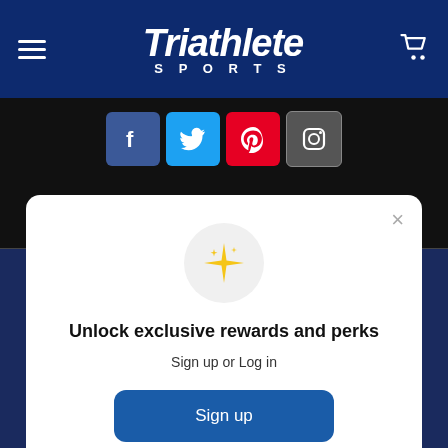Triathlete SPORTS
[Figure (screenshot): Social media icons: Facebook, Twitter, Pinterest, Instagram]
[Figure (infographic): Rewards modal popup with sparkle icon, sign up and login options]
Unlock exclusive rewards and perks
Sign up or Log in
Sign up
Already have an account? Sign in